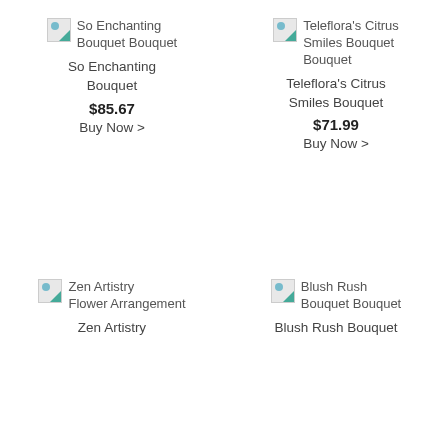[Figure (illustration): Broken image placeholder for So Enchanting Bouquet]
So Enchanting Bouquet
So Enchanting Bouquet
$85.67
Buy Now >
[Figure (illustration): Broken image placeholder for Teleflora's Citrus Smiles Bouquet]
Teleflora's Citrus Smiles Bouquet
Teleflora's Citrus Smiles Bouquet
$71.99
Buy Now >
[Figure (illustration): Broken image placeholder for Zen Artistry Flower Arrangement]
Zen Artistry Flower Arrangement
Zen Artistry
[Figure (illustration): Broken image placeholder for Blush Rush Bouquet]
Blush Rush Bouquet
Blush Rush Bouquet